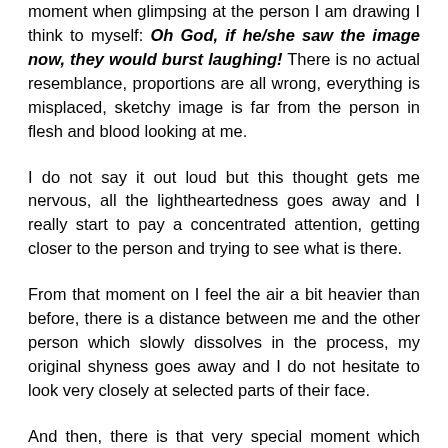moment when glimpsing at the person I am drawing I think to myself: Oh God, if he/she saw the image now, they would burst laughing! There is no actual resemblance, proportions are all wrong, everything is misplaced, sketchy image is far from the person in flesh and blood looking at me.
I do not say it out loud but this thought gets me nervous, all the lightheartedness goes away and I really start to pay a concentrated attention, getting closer to the person and trying to see what is there.
From that moment on I feel the air a bit heavier than before, there is a distance between me and the other person which slowly dissolves in the process, my original shyness goes away and I do not hesitate to look very closely at selected parts of their face.
And then, there is that very special moment which always leaves me touched. As they are sitting there with no room to